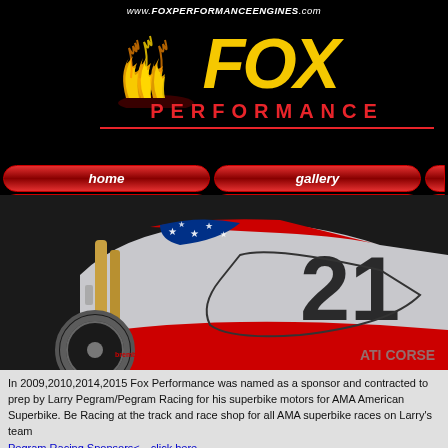www.FOXPERFORMANCEENGINES.com
[Figure (logo): Fox Performance logo with flame graphic on black background, yellow FOX text with flame, red PERFORMANCE text below]
[Figure (photo): Racing motorcycle #21 with American flag livery (stars and stripes), Ducati Corse, with Brembo brakes visible, gold forks]
In 2009,2010,2014,2015 Fox Performance was named as a sponsor and contracted to prep by Larry Pegram/Pegram Racing for his superbike motors for AMA American Superbike. Be Racing at the track and race shop for all AMA superbike races on Larry's team
Pegram Racing Sponsors<---click here
UPDATE: 4/8/14: